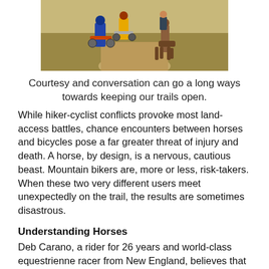[Figure (photo): Two cyclists and a horse/rider on a dusty trail through tall grass]
Courtesy and conversation can go a long ways towards keeping our trails open.
While hiker-cyclist conflicts provoke most land-access battles, chance encounters between horses and bicycles pose a far greater threat of injury and death. A horse, by design, is a nervous, cautious beast. Mountain bikers are, more or less, risk-takers. When these two very different users meet unexpectedly on the trail, the results are sometimes disastrous.
Understanding Horses
Deb Carano, a rider for 26 years and world-class equestrienne racer from New England, believes that the majority of unpleasant horse-bicycle incidents arise from ignorance about how this herbivore perceives its world. When scared, humans may choose to fight or flee. Horses have one response, flight, and right now